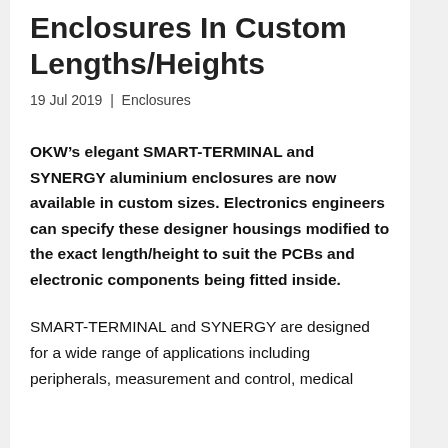Enclosures In Custom Lengths/Heights
19 Jul 2019 | Enclosures
OKW’s elegant SMART-TERMINAL and SYNERGY aluminium enclosures are now available in custom sizes. Electronics engineers can specify these designer housings modified to the exact length/height to suit the PCBs and electronic components being fitted inside.
SMART-TERMINAL and SYNERGY are designed for a wide range of applications including peripherals, measurement and control, medical